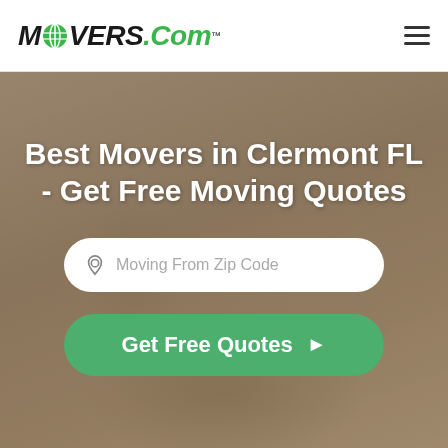Movers.com
Best Movers in Clermont FL - Get Free Moving Quotes
[Figure (other): Zip code input field with placeholder text 'Moving From Zip Code' and a location pin icon]
[Figure (other): Green CTA button reading 'Get Free Quotes' with a right-arrow icon]